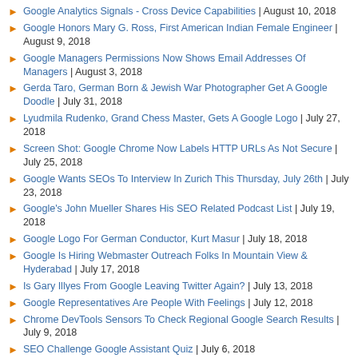Google Analytics Signals - Cross Device Capabilities | August 10, 2018
Google Honors Mary G. Ross, First American Indian Female Engineer | August 9, 2018
Google Managers Permissions Now Shows Email Addresses Of Managers | August 3, 2018
Gerda Taro, German Born & Jewish War Photographer Get A Google Doodle | July 31, 2018
Lyudmila Rudenko, Grand Chess Master, Gets A Google Logo | July 27, 2018
Screen Shot: Google Chrome Now Labels HTTP URLs As Not Secure | July 25, 2018
Google Wants SEOs To Interview In Zurich This Thursday, July 26th | July 23, 2018
Google's John Mueller Shares His SEO Related Podcast List | July 19, 2018
Google Logo For German Conductor, Kurt Masur | July 18, 2018
Google Is Hiring Webmaster Outreach Folks In Mountain View & Hyderabad | July 17, 2018
Is Gary Illyes From Google Leaving Twitter Again? | July 13, 2018
Google Representatives Are People With Feelings | July 12, 2018
Chrome DevTools Sensors To Check Regional Google Search Results | July 9, 2018
SEO Challenge Google Assistant Quiz | July 6, 2018
Fourth of July Google & Bing Home Page For 2018 | July 4, 2018
Navigation: [1] Prev 1 2 3 4 5 6 7 8 9 10 11 Next [60]